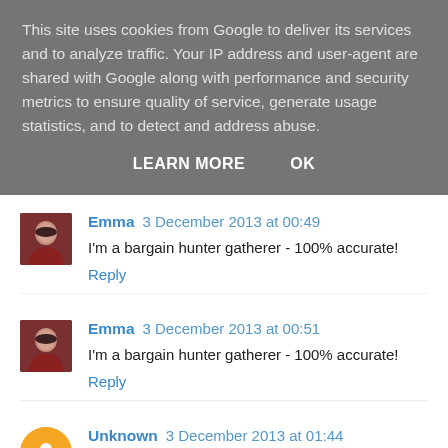This site uses cookies from Google to deliver its services and to analyze traffic. Your IP address and user-agent are shared with Google along with performance and security metrics to ensure quality of service, generate usage statistics, and to detect and address abuse.
LEARN MORE   OK
Emma 3 December 2013 at 00:49
I'm a bargain hunter gatherer - 100% accurate!
Reply
Emma 3 December 2013 at 00:51
I'm a bargain hunter gatherer - 100% accurate!
Reply
Unknown 3 December 2013 at 01:44